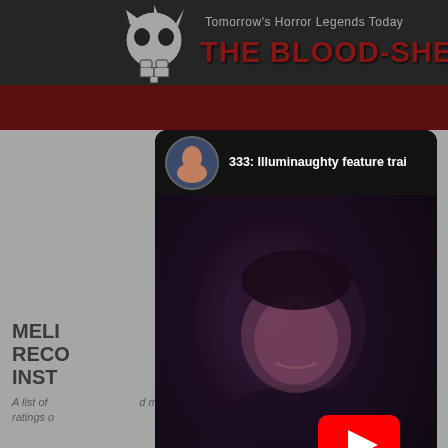[Figure (screenshot): The Blood-Shed website header with logo showing a skull icon, tagline 'Tomorrow's Horror Legends Today' and site name 'THE BLOOD-SHED' in red text on dark gray background.]
MELI... RECO... X INST...
A list of ... d my ratings o...
[Figure (screenshot): YouTube embedded video modal showing a video titled '333: Illuminaughty feature trai' with a circular avatar thumbnail, a dark video frame showing a person's face, a red YouTube play button, and a 'Watch on YouTube' bar at the bottom.]
333: Illuminaughty feature trai
Watch on
YouTube
CLOSE
NETFLIX